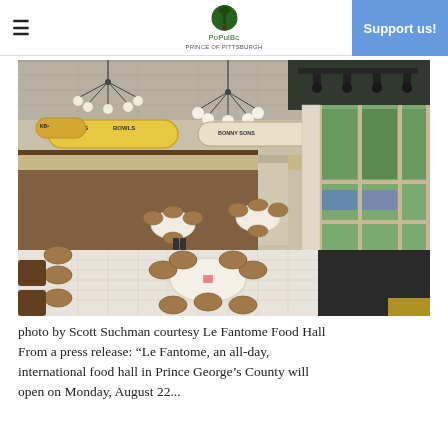≡  PoPulBc  Support us!
[Figure (photo): Interior of Le Fantome Food Hall showing a bright, modern food hall space with wood-paneled service counters, yellow menu boards (SNACKS, BOWLS), chandeliers with globe lights, round white tables, bentwood chairs, and large windows with views of trees outside.]
photo by Scott Suchman courtesy Le Fantome Food Hall From a press release: "Le Fantome, an all-day, international food hall in Prince George's County will open on Monday, August 22..."